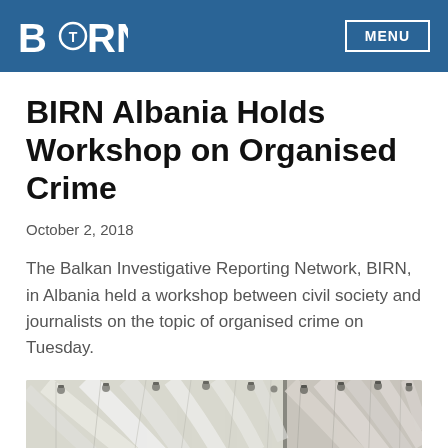BIRN | MENU
BIRN Albania Holds Workshop on Organised Crime
October 2, 2018
The Balkan Investigative Reporting Network, BIRN, in Albania held a workshop between civil society and journalists on the topic of organised crime on Tuesday.
[Figure (photo): Interior photo of a venue with a white tent/canopy ceiling structure with spotlights, showing two adjacent sections of the same room.]